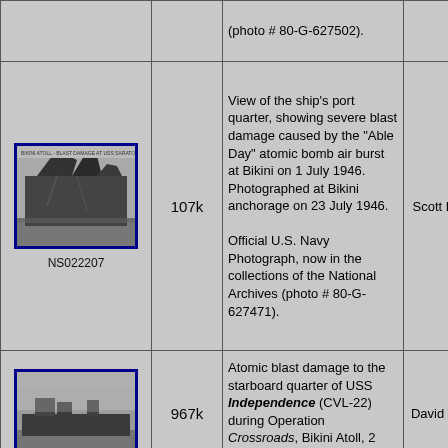| Image | Size | Description | Credit |
| --- | --- | --- | --- |
| (photo # 80-G-627502). |  |  |  |
| NS022207 | 107k | View of the ship's port quarter, showing severe blast damage caused by the "Able Day" atomic bomb air burst at Bikini on 1 July 1946. Photographed at Bikini anchorage on 23 July 1946. Official U.S. Navy Photograph, now in the collections of the National Archives (photo # 80-G-627471). | Scott Dyben |
|  | 967k | Atomic blast damage to the starboard quarter of USS Independence (CVL-22) during Operation Crossroads, Bikini Atoll, 2 July 1946. | David Wright |